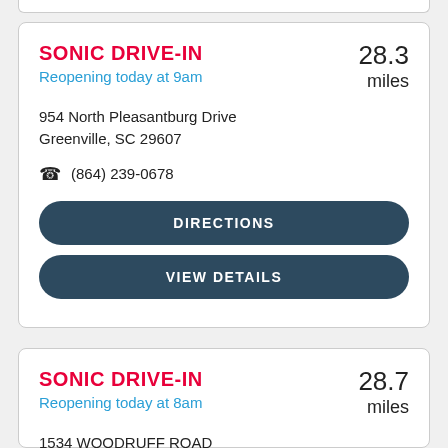SONIC DRIVE-IN
Reopening today at 9am
954 North Pleasantburg Drive
Greenville, SC 29607
(864) 239-0678
DIRECTIONS
VIEW DETAILS
28.3 miles
SONIC DRIVE-IN
Reopening today at 8am
1534 WOODRUFF ROAD
GREENVILLE, SC 29607
28.7 miles